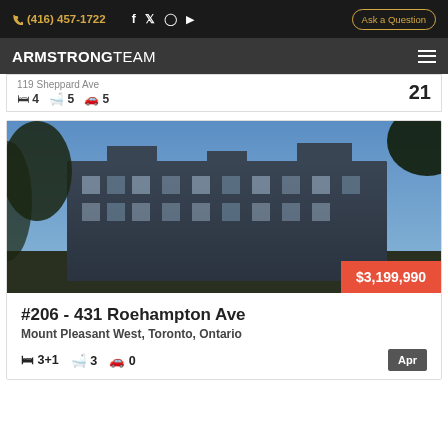(416) 457-1722  Ask a Question
ARMSTRONGTEAM
119 Sheppard Ave  4  5  5  21
[Figure (photo): Exterior photo of a modern multi-storey residential building with dark facade, blue sky background and trees in foreground. Price badge showing $3,199,990 in bottom right corner.]
#206 - 431 Roehampton Ave
Mount Pleasant West, Toronto, Ontario
3+1  3  0  Apr